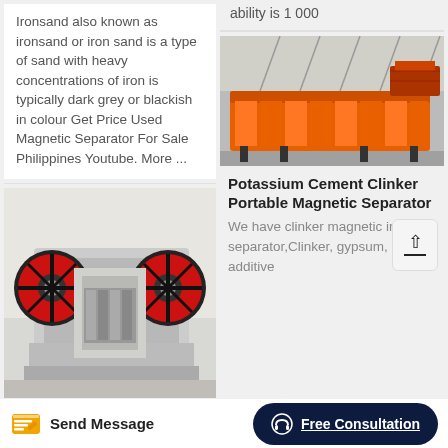Ironsand also known as ironsand or iron sand is a type of sand with heavy concentrations of iron is typically dark grey or blackish in colour Get Price Used Magnetic Separator For Sale Philippines Youtube. More ...
[Figure (photo): Industrial jaw crusher machine with red and white components in a factory setting]
ability is 1 000
[Figure (photo): Large orange industrial magnetic separator equipment in a factory]
Potassium Cement Clinker Portable Magnetic Separator
We have clinker magnetic iron ore separator,Clinker, gypsum, slag, additive
Send Message   Free Consultation